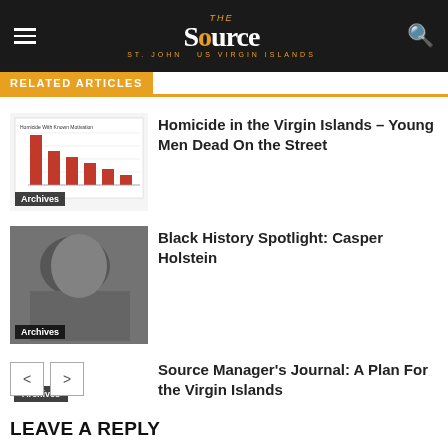The St. John Source — US Virgin Islands
RELATED ARTICLES
[Figure (bar-chart): Bar chart thumbnail showing homicide statistics with known motivation]
Homicide in the Virgin Islands – Young Men Dead On the Street
[Figure (photo): Black and white archival photograph of a person]
Black History Spotlight: Casper Holstein
Source Manager's Journal: A Plan For the Virgin Islands
LEAVE A REPLY